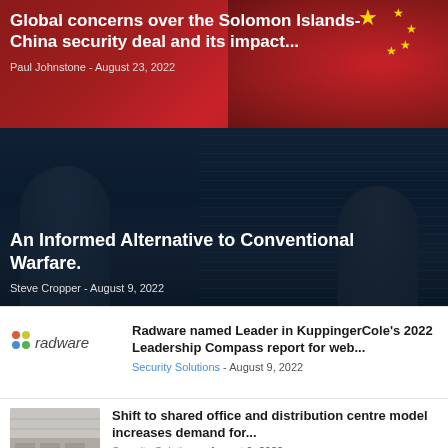Global concerns over the Solomon Islands-China security deal and its impact...
Paul Johnstone  -  August 23, 2022
An Informed Alternative to Conventional Warfare.
Steve Cropper  -  August 9, 2022
[Figure (logo): Radware logo with colorful dot grid and text]
Radware named Leader in KuppingerCole’s 2022 Leadership Compass report for web...
Security Solutions - August 9, 2022
[Figure (photo): Interior photo of shared office or distribution centre]
Shift to shared office and distribution centre model increases demand for...
Security Solutions - August 9, 2022